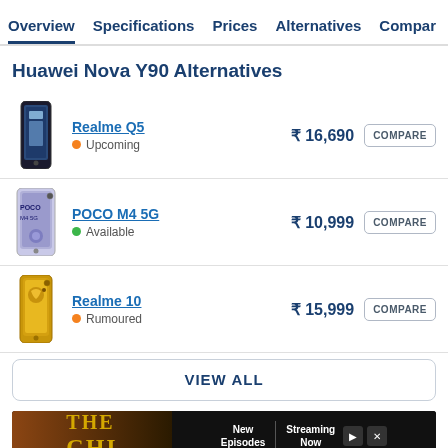Overview   Specifications   Prices   Alternatives   Compar…
Huawei Nova Y90 Alternatives
Realme Q5 • Upcoming  ₹ 16,690  COMPARE
POCO M4 5G • Available  ₹ 10,999  COMPARE
Realme 10 • Rumoured  ₹ 15,999  COMPARE
VIEW ALL
[Figure (screenshot): Advertisement banner: The CHI TV show, New Episodes, Streaming Now]
[Figure (screenshot): Advertisement banner: The Modern Family Plan, $15/MO per line, Mint Mobile]